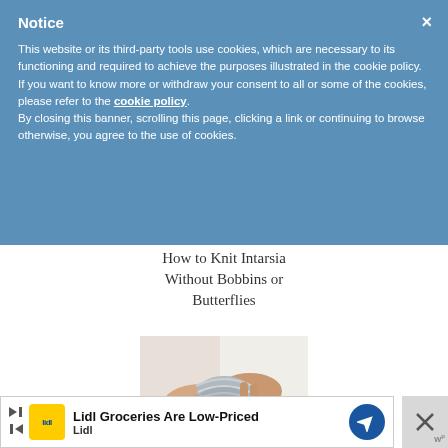Notice
This website or its third-party tools use cookies, which are necessary to its functioning and required to achieve the purposes illustrated in the cookie policy. If you want to know more or withdraw your consent to all or some of the cookies, please refer to the cookie policy. By closing this banner, scrolling this page, clicking a link or continuing to browse otherwise, you agree to the use of cookies.
How to Knit Intarsia Without Bobbins or Butterflies
[Figure (photo): Hands holding and wrapping grey yarn, demonstrating intarsia knitting technique]
Lidl Groceries Are Low-Priced
Lidl